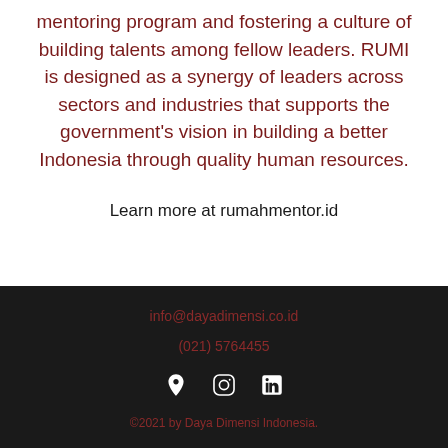mentoring program and fostering a culture of building talents among fellow leaders. RUMI is designed as a synergy of leaders across sectors and industries that supports the government's vision in building a better Indonesia through quality human resources.
Learn more at rumahmentor.id
info@dayadimensi.co.id
(021) 5764455
©2021 by Daya Dimensi Indonesia.